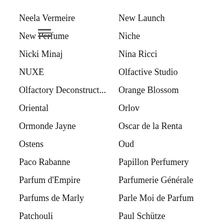Neela Vermeire
New Launch
New Perfume
Niche
Nicki Minaj
Nina Ricci
NUXE
Olfactive Studio
Olfactory Deconstruct...
Orange Blossom
Oriental
Orlov
Ormonde Jayne
Oscar de la Renta
Ostens
Oud
Paco Rabanne
Papillon Perfumery
Parfum d'Empire
Parfumerie Générale
Parfums de Marly
Parle Moi de Parfum
Patchouli
Paul Schütze
Paul Smith
Penhaligon's